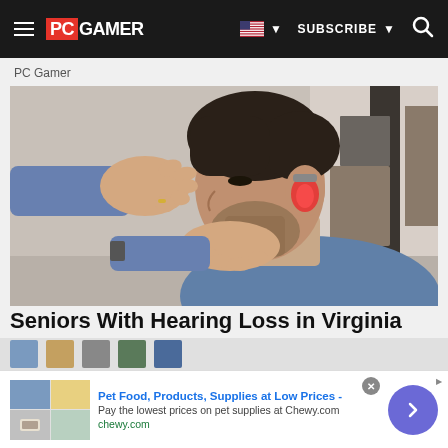PC GAMER — navigation bar with hamburger menu, PC Gamer logo, US flag, SUBSCRIBE, search icon
PC Gamer
[Figure (photo): A person placing a hearing aid device into a bearded man's ear. The ear glows red from the device. Photo shows a close-up side profile of a man with dark hair and stubble, eyes closed, wearing a blue sweater. Another person's hands in a blue sweater sleeve are fitting the device.]
Seniors With Hearing Loss in Virginia Are
[Figure (screenshot): Advertisement banner for Chewy.com: Pet Food, Products, Supplies at Low Prices - Pay the lowest prices on pet supplies at Chewy.com. Shows a collage of pet product images on the left, text in center, and a purple navigation arrow button on the right. A close button (x) and AdChoices icon are visible.]